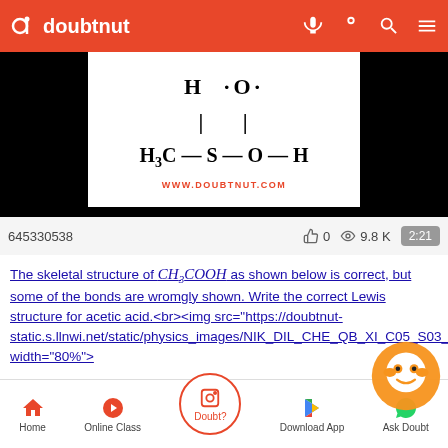doubtnut
[Figure (screenshot): Chemical structure diagram of acetic acid CH3COOH on black background with www.doubtnut.com watermark]
645330538   0   9.8 K   2:21
The skeletal structure of CH3COOH as shown below is correct, but some of the bonds are wromgly shown. Write the correct Lewis structure for acetic acid.<br><img src="https://doubtnut-static.s.llnwi.net/static/physics_images/NIK_DIL_CHE_QB_XI_C05_S03_022_Q01.png" width="80%">
[Figure (screenshot): Doubtnut FULL VIDEO AND TEXT SOLUTION card with CH3COOH formula on dark background]
Home   Online Class   Doubt?   Download App   Ask Doubt